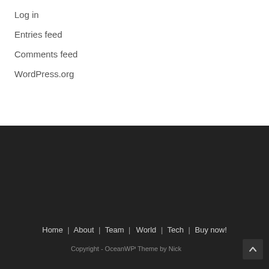Log in
Entries feed
Comments feed
WordPress.org
Home | About | Team | World | Tech | Buy now!
Copyright - OceanWP Theme by Nick